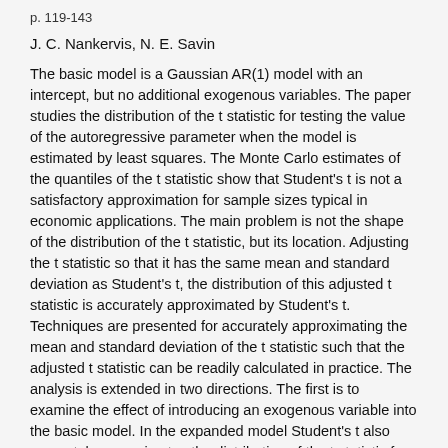p. 119-143
J. C. Nankervis, N. E. Savin
The basic model is a Gaussian AR(1) model with an intercept, but no additional exogenous variables. The paper studies the distribution of the t statistic for testing the value of the autoregressive parameter when the model is estimated by least squares. The Monte Carlo estimates of the quantiles of the t statistic show that Student's t is not a satisfactory approximation for sample sizes typical in economic applications. The main problem is not the shape of the distribution of the t statistic, but its location. Adjusting the t statistic so that it has the same mean and standard deviation as Student's t, the distribution of this adjusted t statistic is accurately approximated by Student's t. Techniques are presented for accurately approximating the mean and standard deviation of the t statistic such that the adjusted t statistic can be readily calculated in practice. The analysis is extended in two directions. The first is to examine the effect of introducing an exogenous variable into the basic model. In the expanded model Student's t also accurately approximates the distribution of the t statistic for